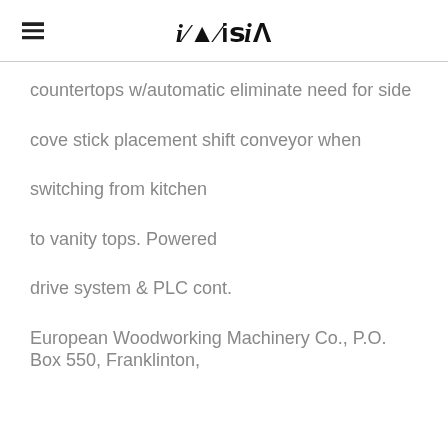iA
countertops w/automatic eliminate need for side
cove stick placement shift conveyor when
switching from kitchen
to vanity tops. Powered
drive system & PLC cont.
European Woodworking Machinery Co., P.O. Box 550, Franklinton,